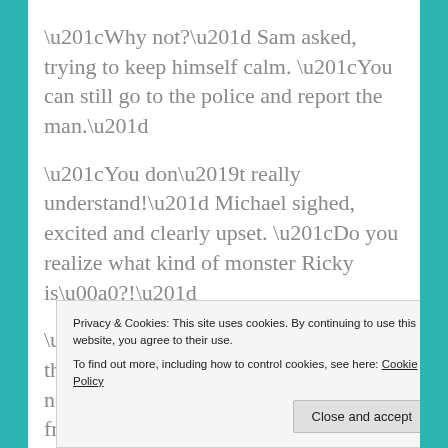“Why not?” Sam asked, trying to keep himself calm. “You can still go to the police and report the man.”
“You don’t really understand!” Michael sighed, excited and clearly upset. “Do you realize what kind of monster Ricky is ?!”
“Of course, I understand and that’s why the police need to be notified! It is not for such a man to be free!”
Privacy & Cookies: This site uses cookies. By continuing to use this website, you agree to their use.
To find out more, including how to control cookies, see here: Cookie Policy
excitedly. “I would be killed; you don’t really